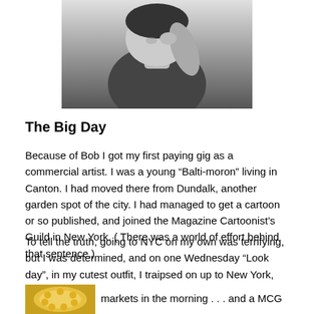[Figure (photo): Black and white photograph of a person, partially cropped, appearing to be a woman with her hand near her face]
The Big Day
Because of Bob I got my first paying gig as a commercial artist. I was a young “Balti-moron” living in Canton. I had moved there from Dundalk, another garden spot of the city. I had managed to get a cartoon or so published, and joined the Magazine Cartoonist’s Guild in New York. ( There was a world of effort behind that sentence.)
To tell the truth, going to NYC on my own was terrifying, but I was determined, and on one Wednesday “Look day”, in my cutest outfit, I traipsed on up to New York, cartoon
[Figure (photo): Small photo of a yellow fluffy object, possibly a chick or flower]
markets in the morning . . . and a MCG